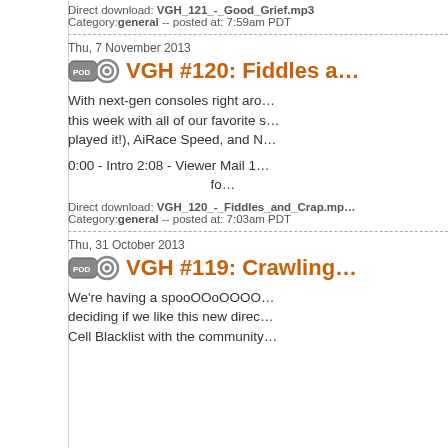Direct download: VGH_121_-_Good_Grief.mp3
Category:general -- posted at: 7:59am PDT
Thu, 7 November 2013
VGH #120: Fiddles a…
With next-gen consoles right aro… this week with all of our favorite s… played it!), AiRace Speed, and N…
0:00 - Intro 2:08 - Viewer Mail 1… fo…
Direct download: VGH_120_-_Fiddles_and_Crap.mp…
Category:general -- posted at: 7:03am PDT
Thu, 31 October 2013
VGH #119: Crawling…
We're having a spooOOoOOOO… deciding if we like this new direc… Cell Blacklist with the community…